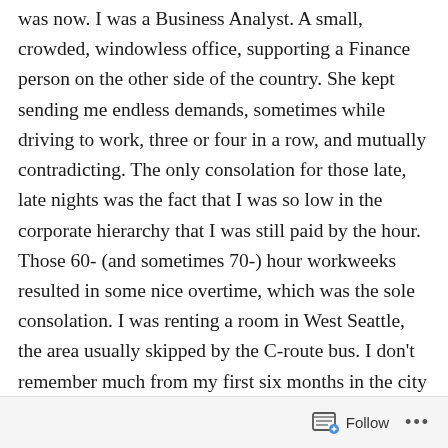was now. I was a Business Analyst. A small, crowded, windowless office, supporting a Finance person on the other side of the country. She kept sending me endless demands, sometimes while driving to work, three or four in a row, and mutually contradicting. The only consolation for those late, late nights was the fact that I was so low in the corporate hierarchy that I was still paid by the hour. Those 60- (and sometimes 70-) hour workweeks resulted in some nice overtime, which was the sole consolation. I was renting a room in West Seattle, the area usually skipped by the C-route bus. I don't remember much from my first six months in the city (just stress, so much stress), but I recall the sensation, over and over, of walking through the city late at night, catching that midnight bus home, through a strange city where it never stopped raining, where high-rise buildings were silhouettes still partly backlit, lighting
Follow